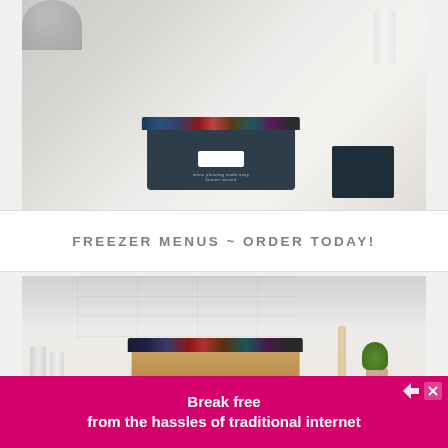[Figure (photo): A dark navy blue recipe/menu planning box with colorful tabbed cards on a white kitchen counter. The box has a white label and text reading 'menu planning made easy'. A dark box is visible to the right.]
FREEZER MENUS ~ ORDER TODAY!
[Figure (photo): A tan/gold colored recipe box with colorful tabbed cards on a white kitchen counter with white subway tile backsplash. A small potted plant and kitchen items are visible in the background.]
[Figure (screenshot): Advertisement banner: 'Break free from the hassles of traditional internet' in white bold text on magenta/hot pink background with navigation arrows and close button.]